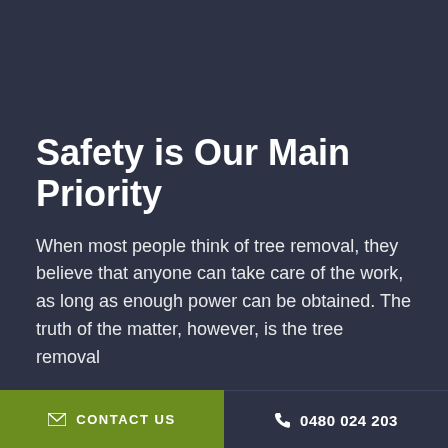Safety is Our Main Priority
When most people think of tree removal, they believe that anyone can take care of the work, as long as enough power can be obtained. The truth of the matter, however, is the tree removal
✉ CONTACT US   📞 0480 024 203